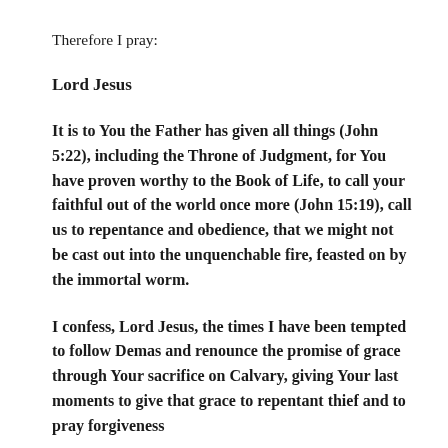Therefore I pray:
Lord Jesus
It is to You the Father has given all things (John 5:22), including the Throne of Judgment, for You have proven worthy to the Book of Life, to call your faithful out of the world once more (John 15:19), call us to repentance and obedience, that we might not be cast out into the unquenchable fire, feasted on by the immortal worm.
I confess, Lord Jesus, the times I have been tempted to follow Demas and renounce the promise of grace through Your sacrifice on Calvary, giving Your last moments to give that grace to repentant thief and to pray forgiveness